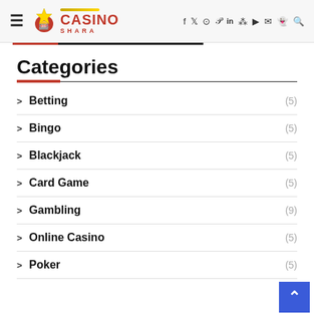Casino Shara — navigation header with social icons
Categories
Betting (5)
Bingo (5)
Blackjack (5)
Card Game (5)
Gambling (9)
Online Casino (5)
Poker (5)